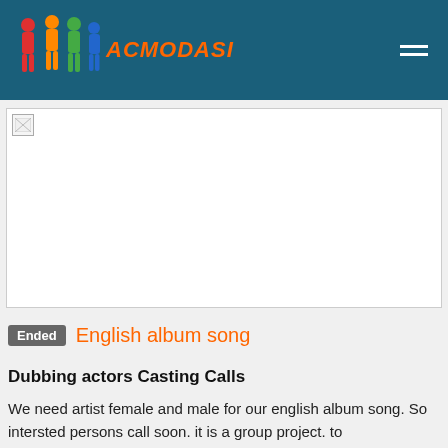ACMODASI
[Figure (photo): Broken/missing image placeholder in a bordered box]
Ended  English album song
Dubbing actors Casting Calls
We need artist female and male for our english album song. So intersted persons call soon. it is a group project. to